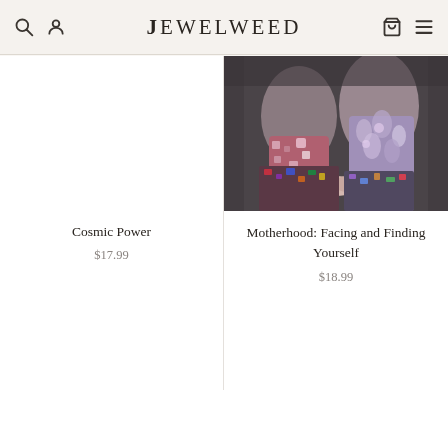Jewelweed
[Figure (photo): Product listing photo for Motherhood: Facing and Finding Yourself — two women holding hands, wearing colorful patterned clothing, viewed from waist down]
Cosmic Power
$17.99
Motherhood: Facing and Finding Yourself
$18.99